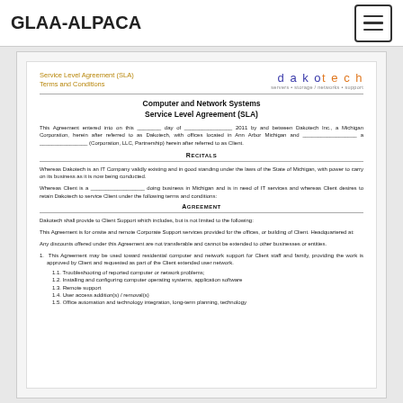GLAA-ALPACA
Service Level Agreement (SLA)
Terms and Conditions
Computer and Network Systems
Service Level Agreement (SLA)
This Agreement entered into on this ________ day of ________________ 2011 by and between Dakotech Inc., a Michigan Corporation, herein after referred to as Dakotech, with offices located in Ann Arbor Michigan and __________________ a ________________ (Corporation, LLC, Partnership) herein after referred to as Client.
Recitals
Whereas Dakotech is an IT Company validly existing and in good standing under the laws of the State of Michigan, with power to carry on its business as it is now being conducted.
Whereas Client is a __________________ doing business in Michigan and is in need of IT services and whereas Client desires to retain Dakotech to service Client under the following terms and conditions:
Agreement
Dakotech shall provide to Client Support which includes, but is not limited to the following:
This Agreement is for onsite and remote Corporate Support services provided for the offices, or building of Client. Headquartered at:
Any discounts offered under this Agreement are not transferable and cannot be extended to other businesses or entities.
1. This Agreement may be used toward residential computer and network support for Client staff and family, providing the work is approved by Client and requested as part of the Client extended user network.
1.1. Troubleshooting of reported computer or network problems;
1.2. Installing and configuring computer operating systems, application software
1.3. Remote support
1.4. User access addition(s) / removal(s)
1.5. Office automation and technology integration, long-term planning, technology